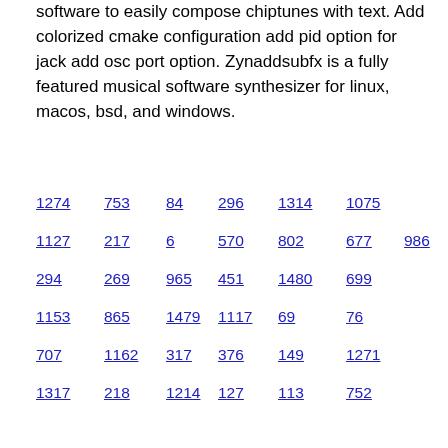software to easily compose chiptunes with text. Add colorized cmake configuration add pid option for jack add osc port option. Zynaddsubfx is a fully featured musical software synthesizer for linux, macos, bsd, and windows.
1274  753  84  296  1314  1075
1127  217  6  570  802  677  986
294  269  965  451  1480  699
1153  865  1479  1117  69  76
707  1162  317  376  149  1271
1317  218  1214  127  113  752
690  602  662  1007  930  1406
1127  204  1293